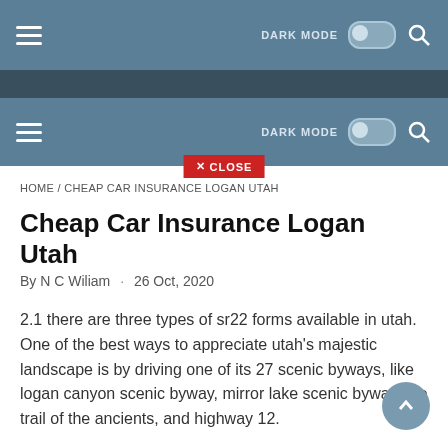DARK MODE [toggle] [search]
DARK MODE [toggle] [search]
✕ CLOSE
HOME / CHEAP CAR INSURANCE LOGAN UTAH
Cheap Car Insurance Logan Utah
By N C Wiliam · 26 Oct, 2020
2.1 there are three types of sr22 forms available in utah. One of the best ways to appreciate utah's majestic landscape is by driving one of its 27 scenic byways, like logan canyon scenic byway, mirror lake scenic byway, the trail of the ancients, and highway 12.